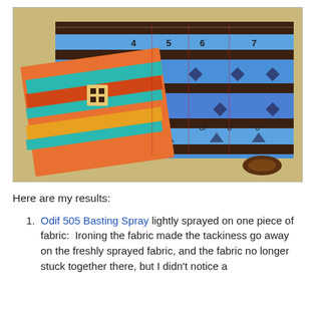[Figure (photo): A colorful Southwestern/Native American patterned fabric laid out on a wooden surface, with numbered sections marked on it. The fabric features teal, blue, orange, red, and brown geometric patterns. A folded piece of the same fabric is placed on top.]
Here are my results:
Odif 505 Basting Spray lightly sprayed on one piece of fabric:  Ironing the fabric made the tackiness go away on the freshly sprayed fabric, and the fabric no longer stuck together there, but I didn't notice a